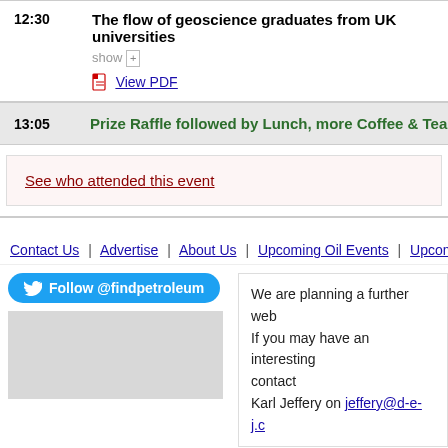12:30 The flow of geoscience graduates from UK universities
show +
View PDF
13:05  Prize Raffle followed by Lunch, more Coffee & Tea
See who attended this event
Contact Us | Advertise | About Us | Upcoming Oil Events | Upcoming Tra...
Follow @findpetroleum
We are planning a further web... If you may have an interesting... contact Karl Jeffery on jeffery@d-e-j.c...